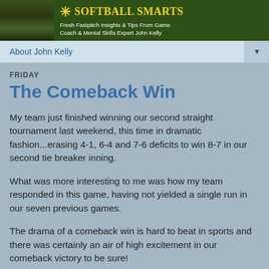[Figure (photo): Softball Smarts website header banner with dark green background, a sun icon, 'Softball Smarts' in yellow bold serif text, and tagline 'Fresh Fastpitch Insights & Tips From Game Coach & Mental Skills Expert John Kelly' in white text. Left side has a photo of a softball team outdoors.]
About John Kelly
FRIDAY
The Comeback Win
My team just finished winning our second straight tournament last weekend, this time in dramatic fashion...erasing 4-1, 6-4 and 7-6 deficits to win 8-7 in our second tie breaker inning.
What was more interesting to me was how my team responded in this game, having not yielded a single run in our seven previous games.
The drama of a comeback win is hard to beat in sports and there was certainly an air of high excitement in our comeback victory to be sure!